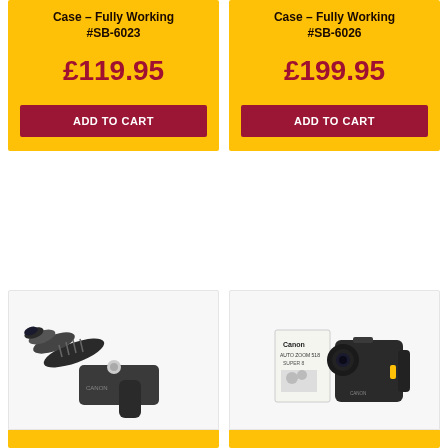Case – Fully Working #SB-6023
£119.95
ADD TO CART
Case – Fully Working #SB-6026
£199.95
ADD TO CART
[Figure (photo): Vintage handheld film camera or telescope device, dark grey/black, viewed from front-left angle on white background]
[Figure (photo): Canon Super 8 movie camera with instruction manual booklet, dark grey, on white background]